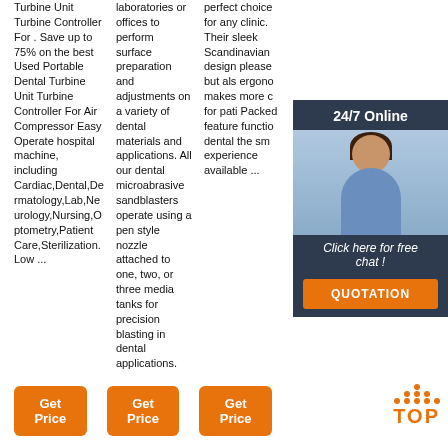Turbine Unit Turbine Controller For . Save up to 75% on the best Used Portable Dental Turbine Unit Turbine Controller For Air Compressor Easy Operate hospital machine, including Cardiac,Dental,Dermatology,Lab,Neurology,Nursing,Optometry,Patient Care,Sterilization. Low ...
laboratories or offices to perform surface preparation and adjustments on a variety of dental materials and applications. All our dental microabrasive sandblasters operate using a pen style nozzle attached to one, two, or three media tanks for precision blasting in dental applications.
perfect choice for any clinic. Their sleek Scandinavian design please but also ergono makes more c for pati Packed feature functio dental the smo experience available ...
[Figure (photo): 24/7 Online customer service chat overlay with woman wearing headset, blue background, with Click here for free chat button and QUOTATION orange button]
Get Price
Get Price
Get Price